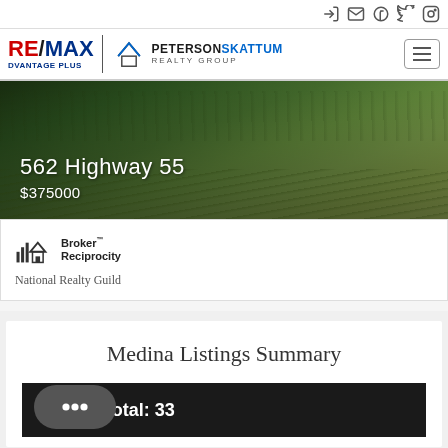RE/MAX ADVANTAGE PLUS | PETERSON SKATTUM REALTY GROUP
[Figure (photo): Aerial/landscape photo of green grassy field used as property banner for 562 Highway 55]
562 Highway 55
$375000
[Figure (logo): Broker Reciprocity logo - house icon with text Broker Reciprocity]
National Realty Guild
Medina Listings Summary
Total: 33